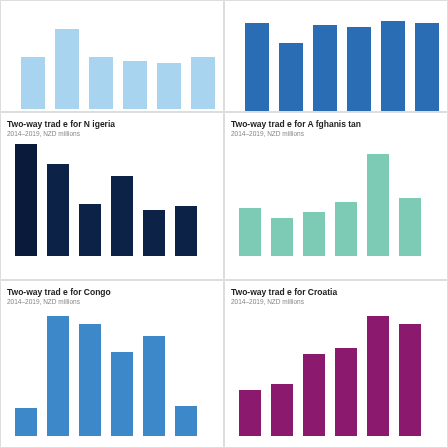[Figure (bar-chart): Two-way trade (unknown country 1)]
[Figure (bar-chart): Two-way trade (unknown country 2)]
[Figure (bar-chart): Two-way trade for Nigeria]
[Figure (bar-chart): Two-way trade for Afghanistan]
[Figure (bar-chart): Two-way trade for Congo]
[Figure (bar-chart): Two-way trade for Croatia]